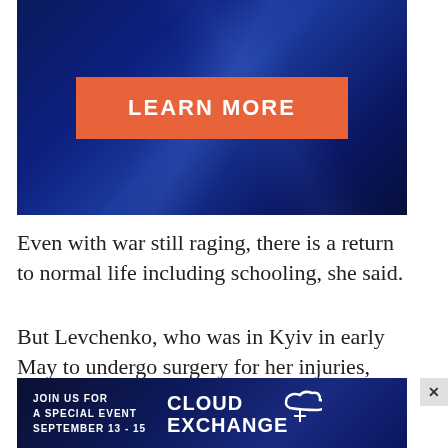[Figure (screenshot): Dark blue gradient advertisement banner with an orange 'LEARN MORE' button in the center]
Even with war still raging, there is a return to normal life including schooling, she said.
But Levchenko, who was in Kyiv in early May to undergo surgery for her injuries, said the emotional damage done to so many children who [obscured]
[Figure (screenshot): Bottom advertisement banner for 'Cloud Exchange' event September 13-15 on dark blue background with cloud logo]